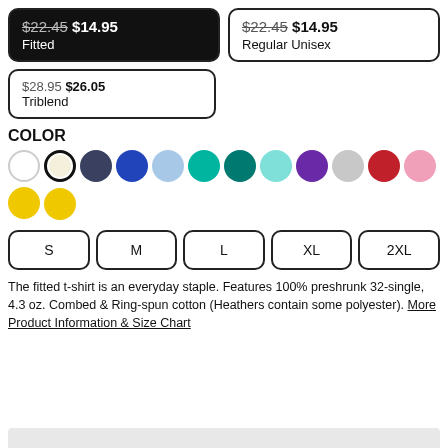$22.45 $14.95 Fitted
$22.45 $14.95 Regular Unisex
$28.95 $26.05 Triblend
COLOR
[Figure (other): Color swatches: white, cream/natural (selected), dark navy, royal blue, light blue, teal/turquoise, dark teal, light teal/aqua, purple, silver/gray, red, pink, yellow, yellow]
S M L XL 2XL
The fitted t-shirt is an everyday staple. Features 100% preshrunk 32-single, 4.3 oz. Combed & Ring-spun cotton (Heathers contain some polyester). More Product Information & Size Chart